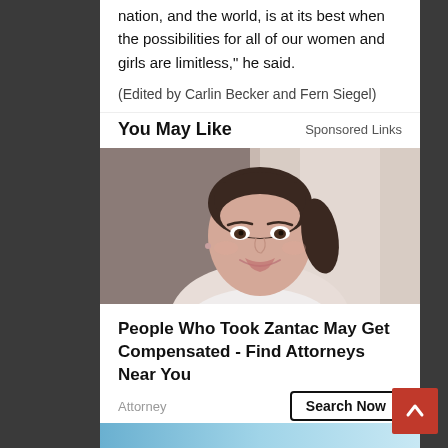nation, and the world, is at its best when the possibilities for all of our women and girls are limitless," he said.
(Edited by Carlin Becker and Fern Siegel)
You May Like
Sponsored Links
[Figure (photo): Portrait photo of a smiling young woman with hair pulled back, wearing a white top, with a window in the background]
People Who Took Zantac May Get Compensated - Find Attorneys Near You
Attorney
Search Now
[Figure (photo): Partial bottom image, appears to be the top of another advertisement]